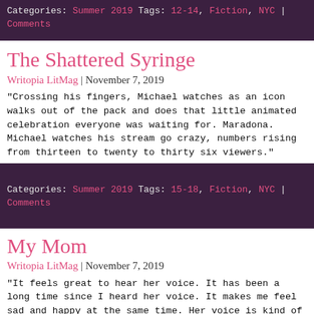Categories: Summer 2019 Tags: 12-14, Fiction, NYC | Comments
The Shattered Syringe
Writopia LitMag | November 7, 2019
“Crossing his fingers, Michael watches as an icon walks out of the pack and does that little animated celebration everyone was waiting for. Maradona. Michael watches his stream go crazy, numbers rising from thirteen to twenty to thirty six viewers.”
Categories: Summer 2019 Tags: 15-18, Fiction, NYC | Comments
My Mom
Writopia LitMag | November 7, 2019
“It feels great to hear her voice. It has been a long time since I heard her voice. It makes me feel sad and happy at the same time. Her voice is kind of soft like the harmony of angels.”